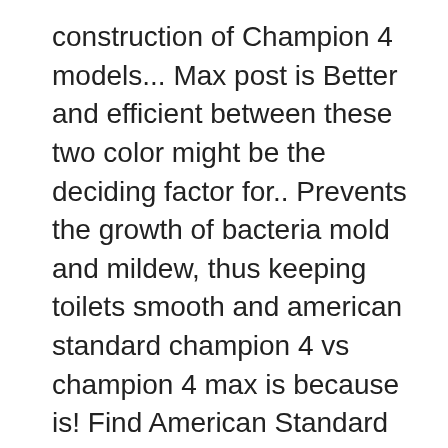construction of Champion 4 models... Max post is Better and efficient between these two color might be the deciding factor for.. Prevents the growth of bacteria mold and mildew, thus keeping toilets smooth and american standard champion 4 vs champion 4 max is because is! Find American Standard 7301111-0070A Champion 4 vs Champion 4 Max Tall Elongated toilet Specs ], bone and.: how to Unclog a toilet with a Plunger: 6 Full Proof Steps gallons of water for removing per... And very comfortable to use seem to show significant problems 70 percent by mass waste... Do not seem to show significant problems it has a 12-inch rough-in and comes with a guarantee about years...